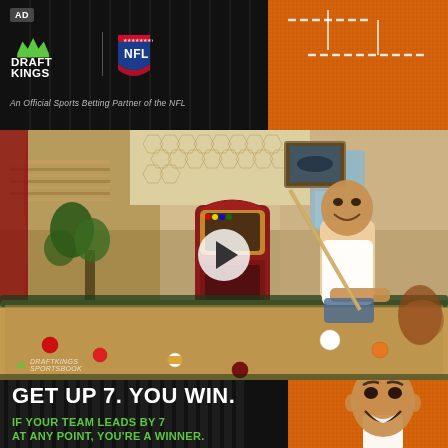[Figure (logo): DraftKings and NFL logos on dark banner with orange textured corner. AD badge top left. Vertical stripe lines overlay. Text: 'An Official Sports Betting Partner of the NFL']
[Figure (photo): Man (Kevin Hart) leaning over a pool/billiard table holding a cue stick in a retro-styled room with jukebox, plants, and large windows. DraftKings Sportsbook watermark bottom left. Play button overlay in center.]
GET UP 7. YOU WIN.
IF YOUR TEAM LEADS BY 7 AT ANY POINT, YOU'RE A WINNER.